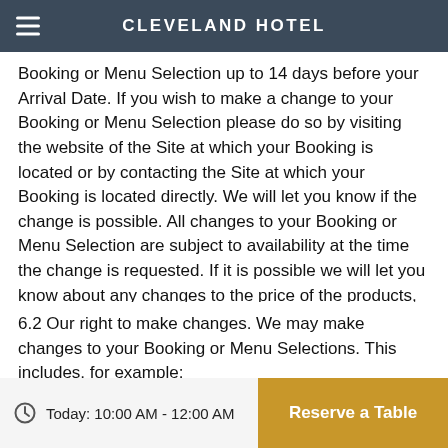CLEVELAND HOTEL
Booking or Menu Selection up to 14 days before your Arrival Date. If you wish to make a change to your Booking or Menu Selection please do so by visiting the website of the Site at which your Booking is located or by contacting the Site at which your Booking is located directly. We will let you know if the change is possible. All changes to your Booking or Menu Selection are subject to availability at the time the change is requested. If it is possible we will let you know about any changes to the price of the products, their timing or anything else which would be necessary as a result of your requested change and ask you to confirm whether you wish to go ahead with the change.
6.2 Our right to make changes. We may make changes to your Booking or Menu Selections. This includes, for example:
(a) to reflect changes in relevant laws and regulatory requirements;
Today: 10:00 AM - 12:00 AM   Reserve a Table